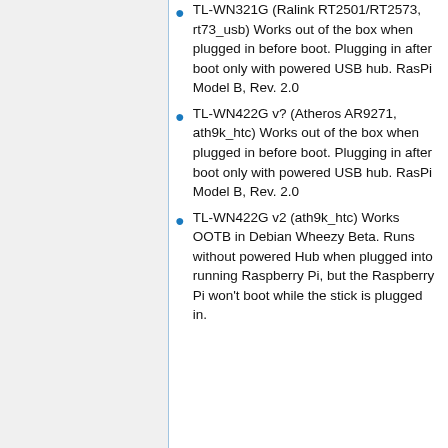TL-WN321G (Ralink RT2501/RT2573, rt73_usb) Works out of the box when plugged in before boot. Plugging in after boot only with powered USB hub. RasPi Model B, Rev. 2.0
TL-WN422G v? (Atheros AR9271, ath9k_htc) Works out of the box when plugged in before boot. Plugging in after boot only with powered USB hub. RasPi Model B, Rev. 2.0
TL-WN422G v2 (ath9k_htc) Works OOTB in Debian Wheezy Beta. Runs without powered Hub when plugged into running Raspberry Pi, but the Raspberry Pi won't boot while the stick is plugged in.